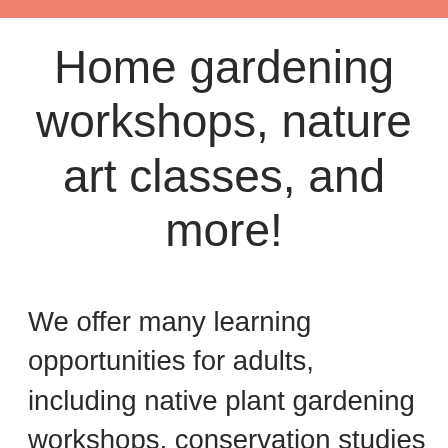Home gardening workshops, nature art classes, and more!
We offer many learning opportunities for adults, including native plant gardening workshops, conservation studies programs, botanical art classes, health and well-being classes, nature walks, programs focusing on